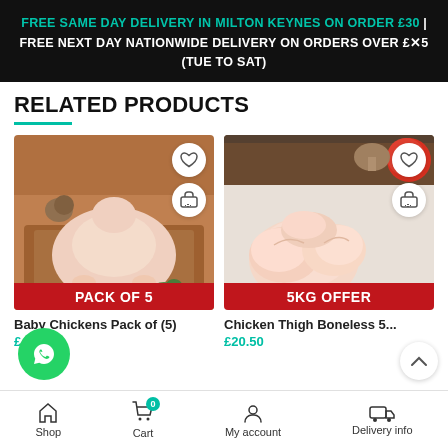FREE SAME DAY DELIVERY IN MILTON KEYNES ON ORDER £30 | FREE NEXT DAY NATIONWIDE DELIVERY ON ORDERS OVER £×5 (TUE TO SAT)
RELATED PRODUCTS
[Figure (photo): Raw whole baby chicken on a wooden cutting board with herbs. Red badge at bottom reads PACK OF 5. Heart and cart icons top right.]
Baby Chickens Pack of (5)
£47.00 (approximately)
[Figure (photo): Raw boneless chicken thighs on a white surface with tomatoes and mushrooms in background. Red badge at bottom reads 5KG OFFER. Heart and cart icons top right.]
Chicken Thigh Boneless 5...
£20.50 (approximately)
Shop | Cart 0 | My account | Delivery info